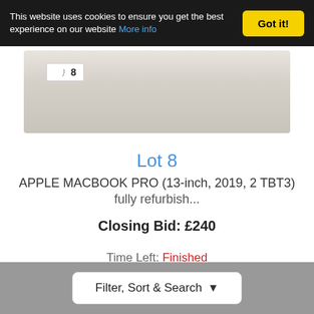This website uses cookies to ensure you get the best experience on our website More info
[Figure (photo): Bottom edge of a silver/gold Apple MacBook Pro laptop with a white label showing the number 8]
Lot 8
APPLE MACBOOK PRO (13-inch, 2019, 2 TBT3) fully refurbish...
Closing Bid: £240
Time Left: Finished
Estimate £300 - £400
Filter, Sort & Search